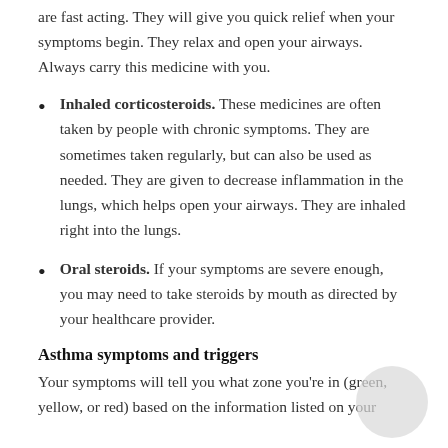are fast acting. They will give you quick relief when your symptoms begin. They relax and open your airways. Always carry this medicine with you.
Inhaled corticosteroids. These medicines are often taken by people with chronic symptoms. They are sometimes taken regularly, but can also be used as needed. They are given to decrease inflammation in the lungs, which helps open your airways. They are inhaled right into the lungs.
Oral steroids. If your symptoms are severe enough, you may need to take steroids by mouth as directed by your healthcare provider.
Asthma symptoms and triggers
Your symptoms will tell you what zone you're in (green, yellow, or red) based on the information listed on your